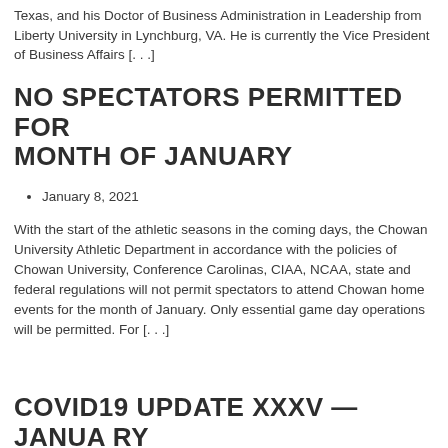Texas, and his Doctor of Business Administration in Leadership from Liberty University in Lynchburg, VA. He is currently the Vice President of Business Affairs [...]
NO SPECTATORS PERMITTED FOR MONTH OF JANUARY
January 8, 2021
With the start of the athletic seasons in the coming days, the Chowan University Athletic Department in accordance with the policies of Chowan University, Conference Carolinas, CIAA, NCAA, state and federal regulations will not permit spectators to attend Chowan home events for the month of January. Only essential game day operations will be permitted. For [...]
COVID19 UPDATE XXXV — JANUARY